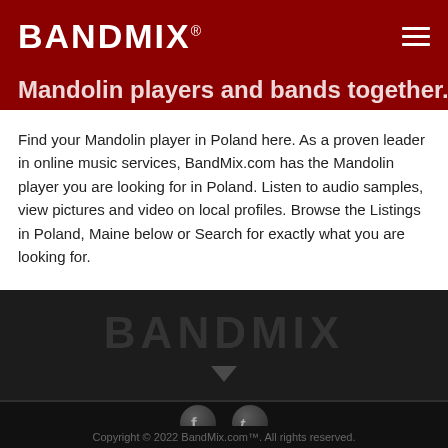BANDMIX®
Mandolin players and bands together.
Find your Mandolin player in Poland here. As a proven leader in online music services, BandMix.com has the Mandolin player you are looking for in Poland. Listen to audio samples, view pictures and video on local profiles. Browse the Listings in Poland, Maine below or Search for exactly what you are looking for.
[Figure (logo): BANDMIX watermark logo in dark footer area with dropdown arrow]
[Figure (illustration): Facebook and Twitter social media icon circles in dark footer]
Copyright © 2022 BandMix.com™. All rights reserved.